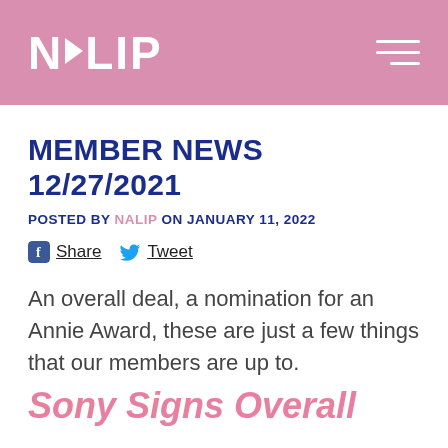NALIP
MEMBER NEWS 12/27/2021
POSTED BY NALIP ON JANUARY 11, 2022
Share  Tweet
An overall deal, a nomination for an Annie Award, these are just a few things that our members are up to.
Sony Signs Overall